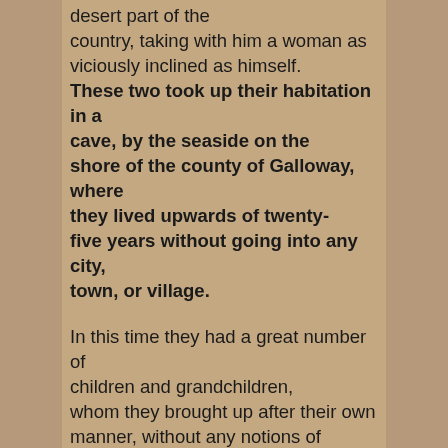desert part of the country, taking with him a woman as viciously inclined as himself. These two took up their habitation in a cave, by the seaside on the shore of the county of Galloway, where they lived upwards of twenty-five years without going into any city, town, or village.

In this time they had a great number of children and grandchildren, whom they brought up after their own manner, without any notions of humanity or civil society. They never kept any company, but among themselves, and supported themselves wholly by robbing; being, moreover so very cruel, that they never